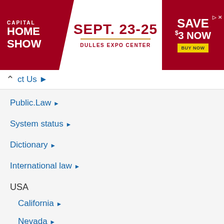[Figure (illustration): Capital Home Show advertisement banner: SEPT. 23-25, DULLES EXPO CENTER, SAVE $3 NOW, BUY NOW button]
ct Us ►
Public.Law ►
System status ►
Dictionary ►
International law ►
USA
California ►
Nevada ►
New York ►
Oregon ►
Texas ►